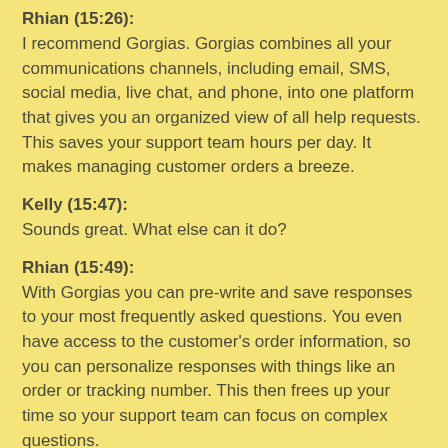Rhian (15:26):
I recommend Gorgias. Gorgias combines all your communications channels, including email, SMS, social media, live chat, and phone, into one platform that gives you an organized view of all help requests. This saves your support team hours per day. It makes managing customer orders a breeze.
Kelly (15:47):
Sounds great. What else can it do?
Rhian (15:49):
With Gorgias you can pre-write and save responses to your most frequently asked questions. You even have access to the customer's order information, so you can personalize responses with things like an order or tracking number. This then frees up your time so your support team can focus on complex questions.
Kelly (16:07):